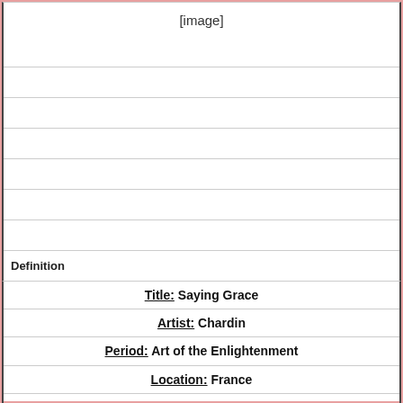[Figure (other): [image] placeholder area at top of flashcard]
Definition
Title: Saying Grace
Artist: Chardin
Period: Art of the Enlightenment
Location: France
-EP#2, accepted into academy, not well respected
-Wanted imitate reality, honest, darker palette